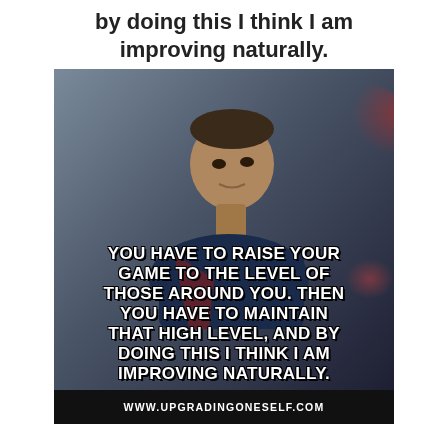by doing this I think I am improving naturally.
[Figure (photo): Photo of a young male football player in a dark navy blue jersey looking to the side, with a motivational quote overlaid on the image and website URL at the bottom]
WWW.UPGRADINGONESELF.COM